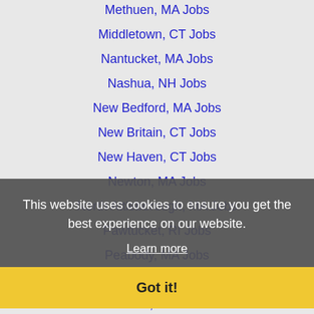Methuen, MA Jobs
Middletown, CT Jobs
Nantucket, MA Jobs
Nashua, NH Jobs
New Bedford, MA Jobs
New Britain, CT Jobs
New Haven, CT Jobs
Newton, MA Jobs
North Attleborough, MA Jobs
Pawtucket, RI Jobs
Peabody, MA Jobs
This website uses cookies to ensure you get the best experience on our website.
Learn more
Revere, MA Jobs
Got it!
Salem, MA Jobs
Somerville, MA Jobs
Springfield, MA Jobs